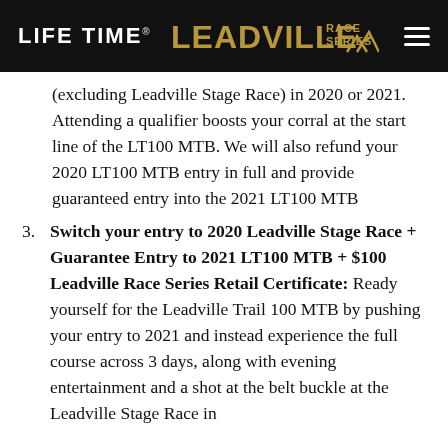LIFE TIME | LEADVILLE RACE SERIES
(excluding Leadville Stage Race) in 2020 or 2021. Attending a qualifier boosts your corral at the start line of the LT100 MTB. We will also refund your 2020 LT100 MTB entry in full and provide guaranteed entry into the 2021 LT100 MTB
3. Switch your entry to 2020 Leadville Stage Race + Guarantee Entry to 2021 LT100 MTB + $100 Leadville Race Series Retail Certificate: Ready yourself for the Leadville Trail 100 MTB by pushing your entry to 2021 and instead experience the full course across 3 days, along with evening entertainment and a shot at the belt buckle at the Leadville Stage Race in